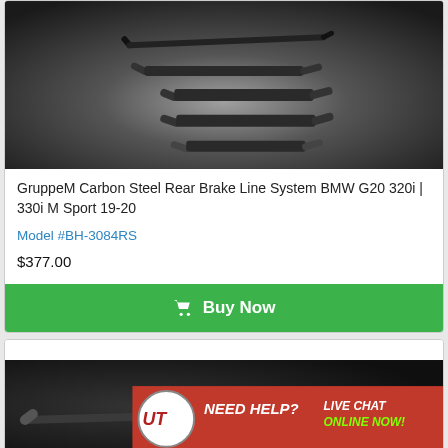[Figure (photo): Black brake line components/rods arranged on a dark gradient background]
GruppeM Carbon Steel Rear Brake Line System BMW G20 320i | 330i M Sport 19-20
Model #BH-3084RS
$377.00
Buy Now
[Figure (photo): Second product card showing a brake line part on dark background with a 'NEED HELP? LIVE CHAT ONLINE NOW!' banner in the bottom right corner with UT logo]